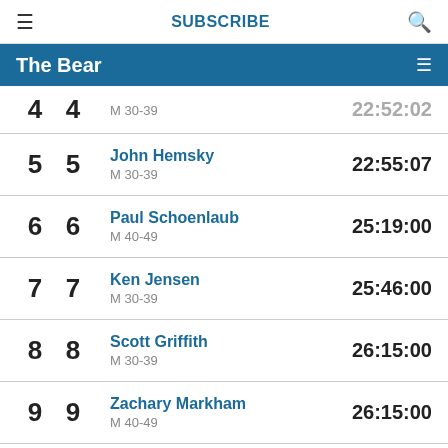≡  SUBSCRIBE  🔍
The Bear
| Overall | Gender | Name / Category | Time |
| --- | --- | --- | --- |
| 4 | 4 | M 30-39 | 22:52:02 |
| 5 | 5 | John Hemsky
M 30-39 | 22:55:07 |
| 6 | 6 | Paul Schoenlaub
M 40-49 | 25:19:00 |
| 7 | 7 | Ken Jensen
M 30-39 | 25:46:00 |
| 8 | 8 | Scott Griffith
M 30-39 | 26:15:00 |
| 9 | 9 | Zachary Markham
M 40-49 | 26:15:00 |
| 10 | 10 | Jake Jones | 26:21:00 |